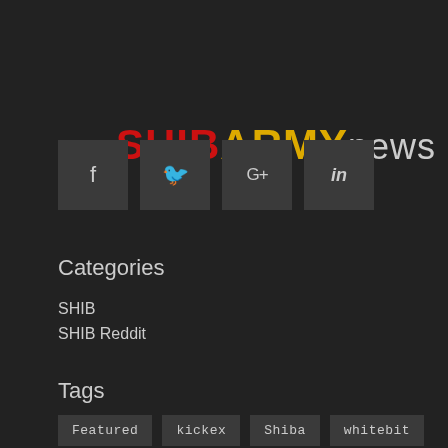SHIBARMYnews
[Figure (infographic): Social media icon buttons: Facebook (f), Twitter (bird), Google+ (G+), LinkedIn (in)]
Categories
SHIB
SHIB Reddit
Tags
Featured  kickex  Shiba  whitebit